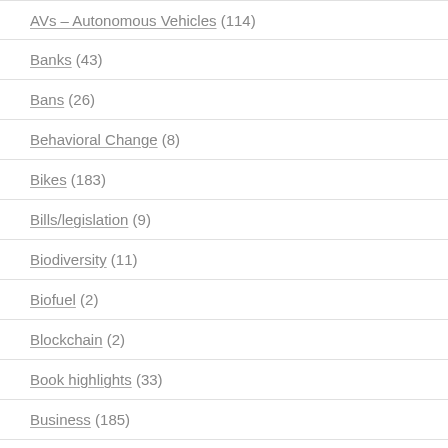AVs – Autonomous Vehicles (114)
Banks (43)
Bans (26)
Behavioral Change (8)
Bikes (183)
Bills/legislation (9)
Biodiversity (11)
Biofuel (2)
Blockchain (2)
Book highlights (33)
Business (185)
Capitalism (128)